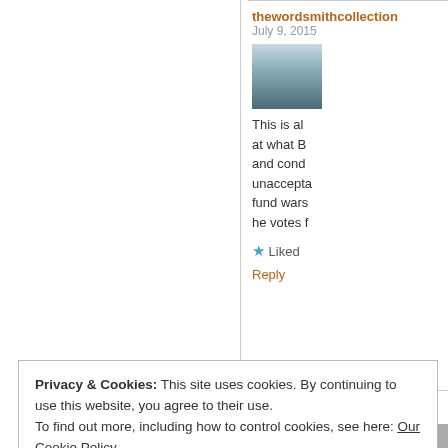thewordsmithcollection July 9, 2015 - This is al... at what B... and cond... unaccepta... fund wars... he votes f...
Liked
Reply
PW July 9, 2015
Privacy & Cookies: This site uses cookies. By continuing to use this website, you agree to their use. To find out more, including how to control cookies, see here: Our Cookie Policy
Close and accept